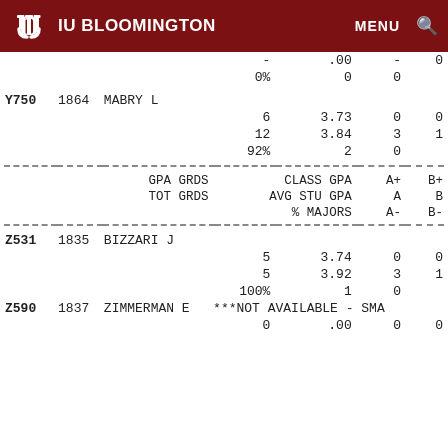IU BLOOMINGTON  MENU
| CODE | NUM | NAME | GPA GRDS | CLASS GPA | A+ | B+ |
| --- | --- | --- | --- | --- | --- | --- |
|  |  |  | - | .00 | - | 0 |
|  |  |  | 0% | 0 | 0 |  |
| Y750 | 1864 | MABRY L |  |  |  |  |
|  |  |  | 6 | 3.73 | 0 | 0 |
|  |  |  | 12 | 3.84 | 3 | 1 |
|  |  |  | 92% | 2 | 0 |  |
| GPA GRDS |  | CLASS GPA | A+ | B+ |  |  |
| TOT GRDS |  | AVG STU GPA | A | B |  |  |
|  |  | % MAJORS | A- | B- |  |  |
| Z531 | 1835 | BIZZARI J |  |  |  |  |
|  |  |  | 5 | 3.74 | 0 | 0 |
|  |  |  | 5 | 3.92 | 3 | 1 |
|  |  |  | 100% | 1 | 0 |  |
| Z590 | 1837 | ZIMMERMAN E | ***NOT AVAILABLE - SMA |  |  |  |
|  |  |  | 0 | .00 | 0 | 0 |